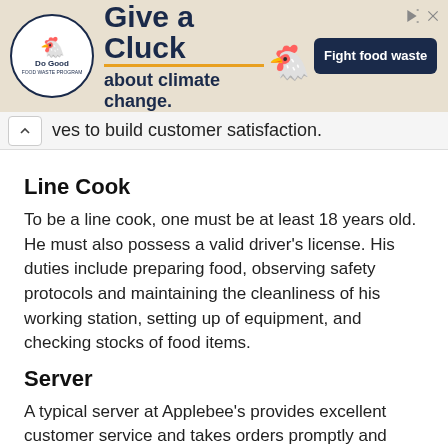[Figure (screenshot): Advertisement banner for 'Do Good' campaign: 'Give a Cluck about climate change. Fight food waste.' with a chicken logo and dark blue button.]
ves to build customer satisfaction.
Line Cook
To be a line cook, one must be at least 18 years old. He must also possess a valid driver's license. His duties include preparing food, observing safety protocols and maintaining the cleanliness of his working station, setting up of equipment, and checking stocks of food items.
Server
A typical server at Applebee's provides excellent customer service and takes orders promptly and